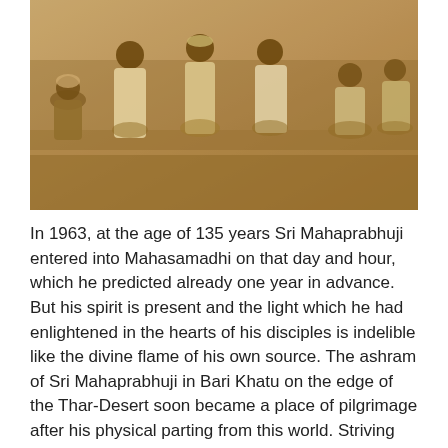[Figure (photo): Sepia-toned historical photograph of a group of men sitting and standing outdoors, dressed in traditional Indian attire including white garments and turbans.]
In 1963, at the age of 135 years Sri Mahaprabhuji entered into Mahasamadhi on that day and hour, which he predicted already one year in advance. But his spirit is present and the light which he had enlightened in the hearts of his disciples is indelible like the divine flame of his own source. The ashram of Sri Mahaprabhuji in Bari Khatu on the edge of the Thar-Desert soon became a place of pilgrimage after his physical parting from this world. Striving ones from all over the world come to feel the holy radiance that permeates this place.